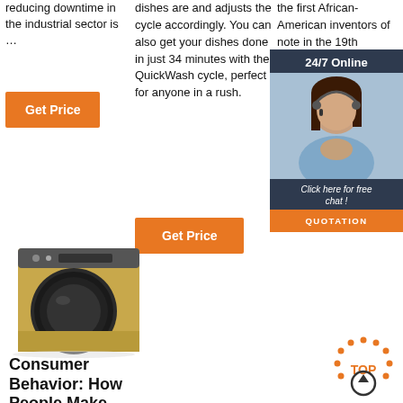reducing downtime in the industrial sector is …
Get Price
dishes are and adjusts the cycle accordingly. You can also get your dishes done in just 34 minutes with the QuickWash cycle, perfect for anyone in a rush.
Get Price
the first African-American inventors of note in the 19th century, George T. Sampson, received a patent for clothes dryer in 1892.
Get Pr…
[Figure (illustration): Chat widget with a customer service representative photo, '24/7 Online' header, 'Click here for free chat!' text, and orange QUOTATION button]
[Figure (photo): Gold/champagne front-loading washing machine]
Consumer Behavior: How People Make
[Figure (other): Orange dotted arc 'TOP' icon with upward arrow circle]